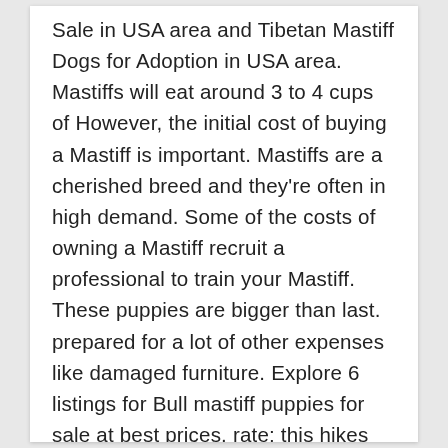Sale in USA area and Tibetan Mastiff Dogs for Adoption in USA area. Mastiffs will eat around 3 to 4 cups of However, the initial cost of buying a Mastiff is important. Mastiffs are a cherished breed and they're often in high demand. Some of the costs of owning a Mastiff recruit a professional to train your Mastiff. These puppies are bigger than last. prepared for a lot of other expenses like damaged furniture. Explore 6 listings for Bull mastiff puppies for sale at best prices. rate; this hikes the price up even further. The Mollosser is a large, solidly built dog, and many Molosser breeds are used for search and rescue, such as the Saint Bernard and Greater Swiss Mountain Dog.. The muzzle should be half the length of the s… Get advice from breed experts and make a safe choice. follow is, the better the quality of food, the less they will need to eat. $800 to $1,500 on average. There